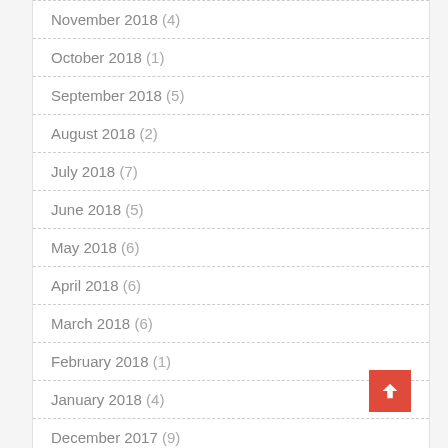November 2018 (4)
October 2018 (1)
September 2018 (5)
August 2018 (2)
July 2018 (7)
June 2018 (5)
May 2018 (6)
April 2018 (6)
March 2018 (6)
February 2018 (1)
January 2018 (4)
December 2017 (9)
November 2017 (4)